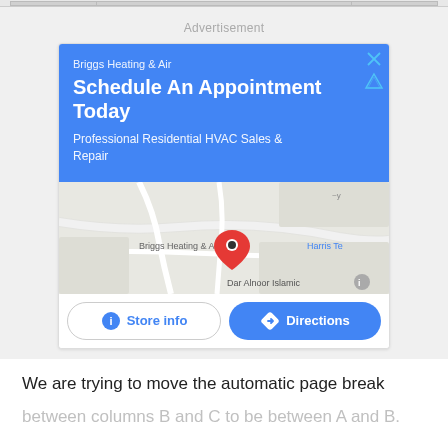[Figure (screenshot): Google Ads advertisement for Briggs Heating & Air showing a blue banner with 'Schedule An Appointment Today' headline, a map screenshot with a location pin, and Store info / Directions buttons]
We are trying to move the automatic page break
between columns B and C to be between A and B.